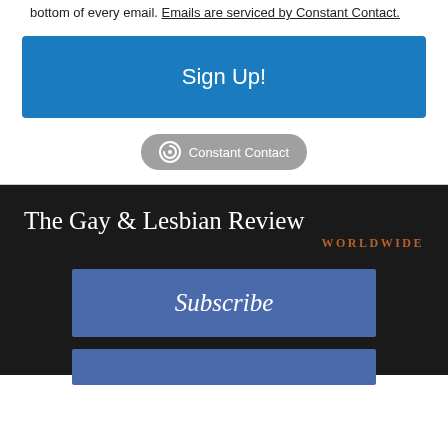bottom of every email. Emails are serviced by Constant Contact.
[Figure (other): Blue 'Sign Up!' button]
[Figure (logo): Constant Contact badge/logo button in gray rounded rectangle]
[Figure (other): The Gay & Lesbian Review WORLDWIDE logo and Subscribe button on dark background]